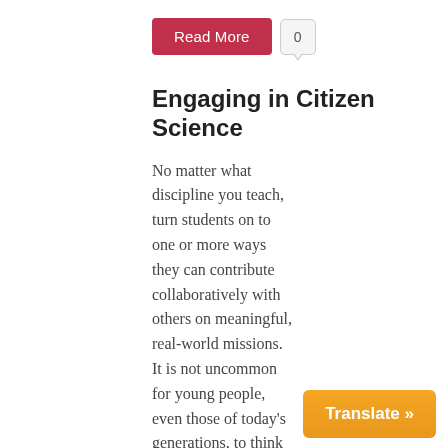Read More  0
Engaging in Citizen Science
No matter what discipline you teach, turn students on to one or more ways they can contribute collaboratively with others on meaningful, real-world missions. It is not uncommon for young people, even those of today's generations, to think that they just do not fit the stereotype of being a scientist. The truth is that all [...]
Read More  0
Atomic Breakdown
On Tuesday, December 13, 2011, phys using the Large Hadron Collider (LHC)